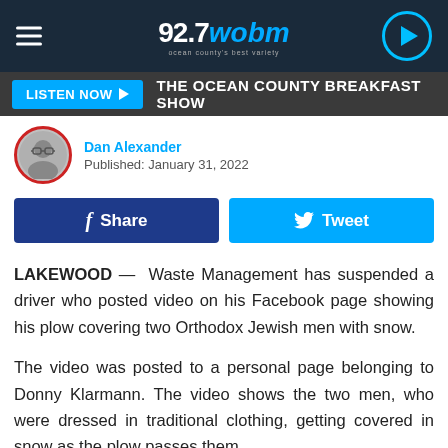[Figure (screenshot): 92.7 WOBM radio station website header with dark navy background, hamburger menu icon on left, 92.7wobm logo in center, and circular play button on right]
[Figure (screenshot): Listen Now button bar in dark grey with cyan LISTEN NOW button with play arrow and text THE OCEAN COUNTY BREAKFAST SHOW]
[Figure (photo): Circular author headshot photo of Dan Alexander with red border]
Dan Alexander
Published: January 31, 2022
[Figure (screenshot): Facebook Share button (dark blue) and Twitter Tweet button (cyan)]
LAKEWOOD —  Waste Management has suspended a driver who posted video on his Facebook page showing his plow covering two Orthodox Jewish men with snow.
The video was posted to a personal page belonging to Donny Klarmann. The video shows the two men, who were dressed in traditional clothing, getting covered in snow as the plow passes them.
"This one's for you JC," Klarmann wrote.